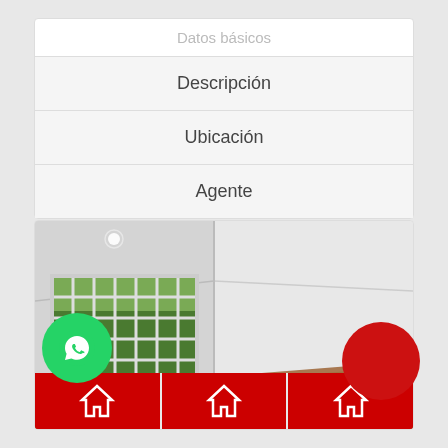Datos básicos
Descripción
Ubicación
Agente
[Figure (photo): Interior room photo showing empty room with large barred window looking out to greenery, white walls, and parquet floor. Below are three thumbnail images with red house icons.]